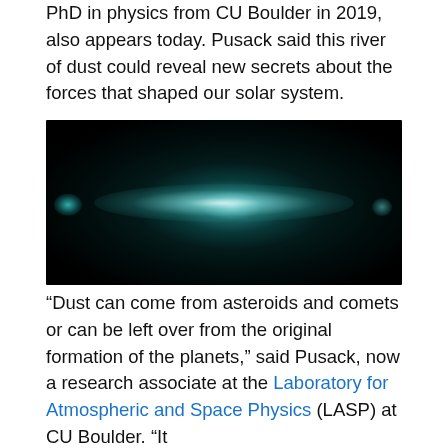PhD in physics from CU Boulder in 2019, also appears today. Pusack said this river of dust could reveal new secrets about the forces that shaped our solar system.
[Figure (photo): Dark astronomical image showing a diffuse glowing band or stream of dust/particles against a black space background, with a bright central glow and smaller glowing regions on the left and right sides.]
“Dust can come from asteroids and comets or can be left over from the original formation of the planets,” said Pusack, now a research associate at the Laboratory for Atmospheric and Space Physics (LASP) at CU Boulder. “It